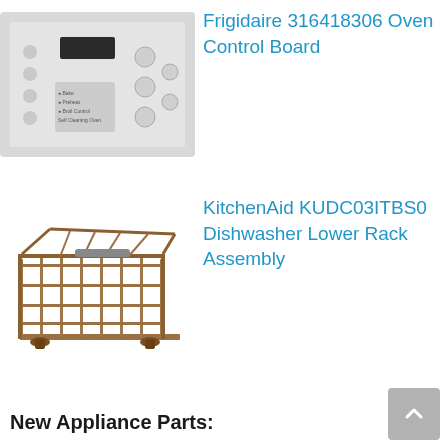[Figure (photo): Frigidaire 316418306 Oven Control Board - white control panel with buttons and display]
Frigidaire 316418306 Oven Control Board
[Figure (photo): KitchenAid KUDC03ITBS0 Dishwasher Lower Rack Assembly - brown wire basket rack]
KitchenAid KUDC03ITBS0 Dishwasher Lower Rack Assembly
New Appliance Parts: